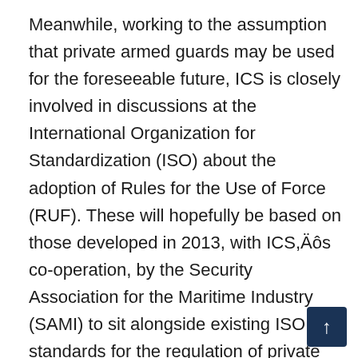Meanwhile, working to the assumption that private armed guards may be used for the foreseeable future, ICS is closely involved in discussions at the International Organization for Standardization (ISO) about the adoption of Rules for the Use of Force (RUF). These will hopefully be based on those developed in 2013, with ICS,Äôs co-operation, by the Security Association for the Maritime Industry (SAMI) to sit alongside existing ISO standards for the regulation of private maritime security companies that have already been welcomed by IMO.

At the end of 2013, ICS issued a strategy paper